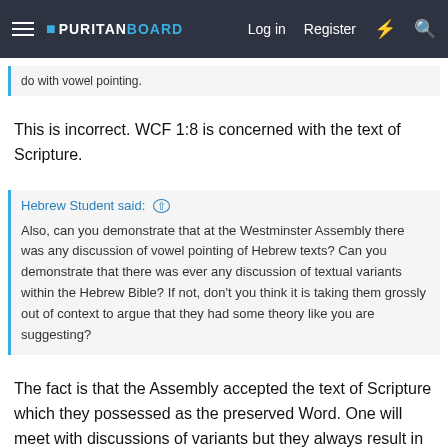PURITANBOARD — Log in | Register
do with vowel pointing.
This is incorrect. WCF 1:8 is concerned with the text of Scripture.
Hebrew Student said: ↑

Also, can you demonstrate that at the Westminster Assembly there was any discussion of vowel pointing of Hebrew texts? Can you demonstrate that there was ever any discussion of textual variants within the Hebrew Bible? If not, don't you think it is taking them grossly out of context to argue that they had some theory like you are suggesting?
The fact is that the Assembly accepted the text of Scripture which they possessed as the preserved Word. One will meet with discussions of variants but they always result in the